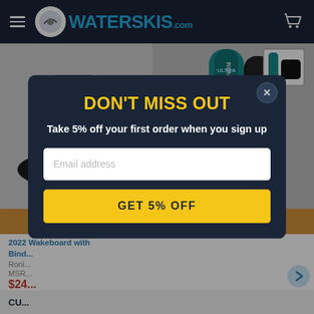WATERSKIS.com
[Figure (photo): Product photo of black wakeboard boots (bindings) on left side, and a teal/black Ronix wakeboard on right side with a thumbnail showing board+bindings combo]
2022 ... Wakeboard with Bindings
Ronix
MSR...
$24...
CU...
DON'T MISS OUT
Take 5% off your first order when you sign up
Email address
GET 5% OFF